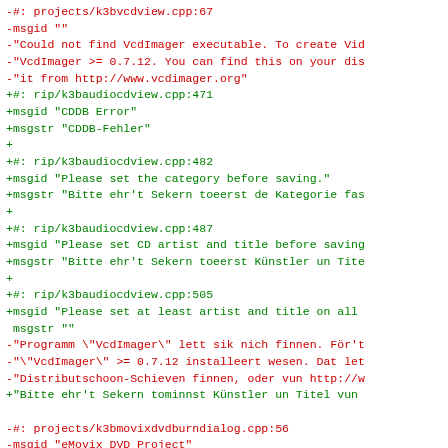Diff output showing changes to localization/translation files (.po format) for K3b software, showing additions and removals of msgid/msgstr entries in red (removed) and green (added).